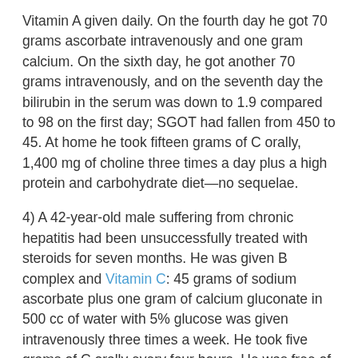Vitamin A given daily. On the fourth day he got 70 grams ascorbate intravenously and one gram calcium. On the sixth day, he got another 70 grams intravenously, and on the seventh day the bilirubin in the serum was down to 1.9 compared to 98 on the first day; SGOT had fallen from 450 to 45. At home he took fifteen grams of C orally, 1,400 mg of choline three times a day plus a high protein and carbohydrate diet—no sequelae.
4) A 42-year-old male suffering from chronic hepatitis had been unsuccessfully treated with steroids for seven months. He was given B complex and Vitamin C: 45 grams of sodium ascorbate plus one gram of calcium gluconate in 500 cc of water with 5% glucose was given intravenously three times a week. He took five grams of C orally every four hours. He was free of the disease in five months. Dr. Klenner felt if he had more massive and continuous doses in the hospital he would have been able to free...